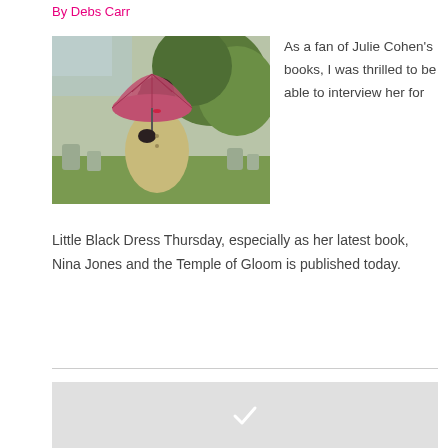By Debs Carr
[Figure (photo): Woman in a beige trench coat holding a red/pink umbrella, standing in what appears to be a churchyard or garden with greenery and gravestones in the background.]
As a fan of Julie Cohen's books, I was thrilled to be able to interview her for Little Black Dress Thursday, especially as her latest book, Nina Jones and the Temple of Gloom is published today.
[Figure (other): Grey box with a white checkmark icon at the bottom of the page.]